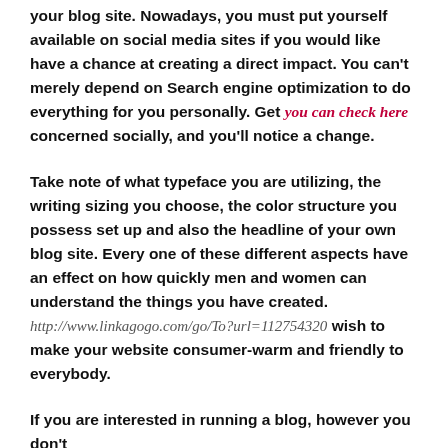your blog site. Nowadays, you must put yourself available on social media sites if you would like have a chance at creating a direct impact. You can't merely depend on Search engine optimization to do everything for you personally. Get you can check here concerned socially, and you'll notice a change.
Take note of what typeface you are utilizing, the writing sizing you choose, the color structure you possess set up and also the headline of your own blog site. Every one of these different aspects have an effect on how quickly men and women can understand the things you have created. http://www.linkagogo.com/go/To?url=112754320 wish to make your website consumer-warm and friendly to everybody.
If you are interested in running a blog, however you don't